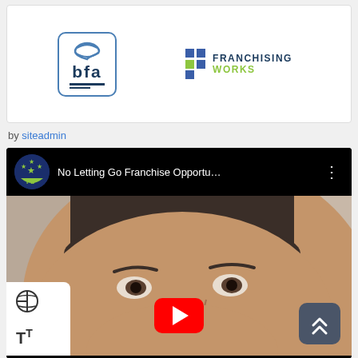[Figure (logo): BFA (British Franchise Association) logo in a rounded rectangle border, with blue arrow and text 'bfa']
[Figure (logo): Franchising Works logo with colorful grid squares and text 'FRANCHISING WORKS']
by siteadmin
[Figure (screenshot): YouTube video embed showing 'No Letting Go Franchise Opportu...' with a man's face visible and a red YouTube play button at the bottom]